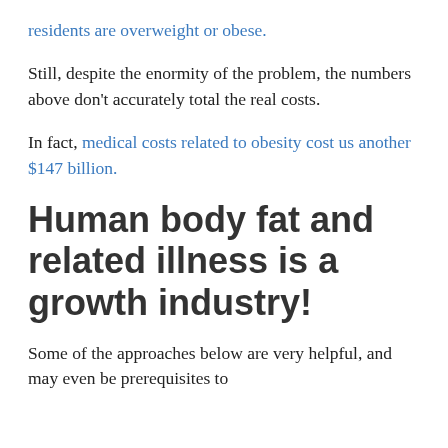residents are overweight or obese.
Still, despite the enormity of the problem, the numbers above don't accurately total the real costs.
In fact, medical costs related to obesity cost us another $147 billion.
Human body fat and related illness is a growth industry!
Some of the approaches below are very helpful, and may even be prerequisites to